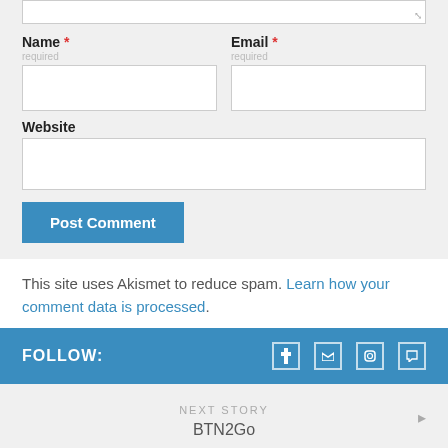[Figure (screenshot): Comment form section showing textarea (top), Name and Email fields side by side, Website field, and Post Comment button on a light gray background]
This site uses Akismet to reduce spam. Learn how your comment data is processed.
FOLLOW:
NEXT STORY
BTN2Go